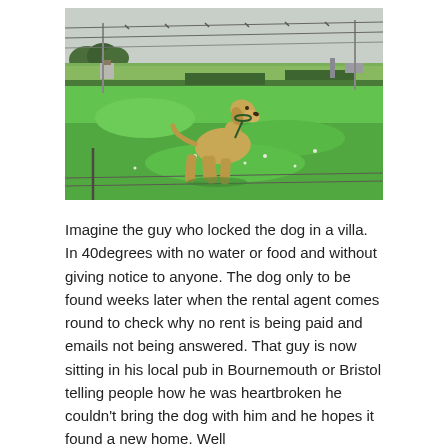[Figure (photo): A golden/yellow Labrador dog standing in a lush green field, looking upward. The field is enclosed by barbed wire fencing visible in the foreground and background. Trees and structures visible in the distant background under an overcast sky.]
Imagine the guy who locked the dog in a villa. In 40degrees with no water or food and without giving notice to anyone. The dog only to be found weeks later when the rental agent comes round to check why no rent is being paid and emails not being answered. That guy is now sitting in his local pub in Bournemouth or Bristol telling people how he was heartbroken he couldn't bring the dog with him and he hopes it found a new home. Well